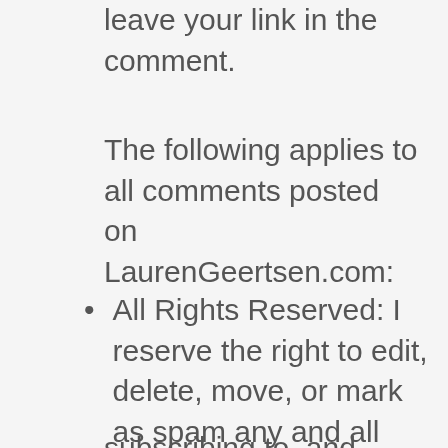leave your link in the comment.
The following applies to all comments posted on LaurenGeertsen.com:
All Rights Reserved: I reserve the right to edit, delete, move, or mark as spam any and all comments. I also reserve the right to block access via IP address to anyone or group from commenting, subscribing to, and from
subscribing to, and from